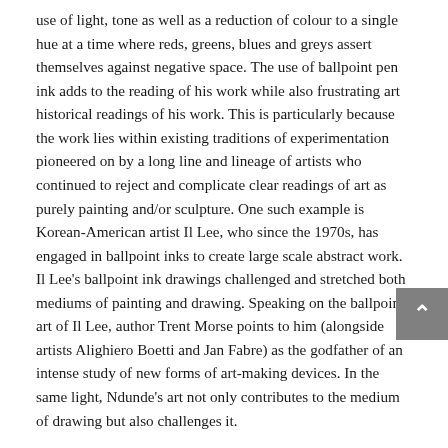use of light, tone as well as a reduction of colour to a single hue at a time where reds, greens, blues and greys assert themselves against negative space. The use of ballpoint pen ink adds to the reading of his work while also frustrating art historical readings of his work. This is particularly because the work lies within existing traditions of experimentation pioneered on by a long line and lineage of artists who continued to reject and complicate clear readings of art as purely painting and/or sculpture. One such example is Korean-American artist Il Lee, who since the 1970s, has engaged in ballpoint inks to create large scale abstract work. Il Lee's ballpoint ink drawings challenged and stretched both mediums of painting and drawing. Speaking on the ballpoint art of Il Lee, author Trent Morse points to him (alongside artists Alighiero Boetti and Jan Fabre) as the godfather of an intense study of new forms of art-making devices. In the same light, Ndunde's art not only contributes to the medium of drawing but also challenges it.

Ndunde's drawings resist allegorical readings and empty out overt symbolism. This emptying out of